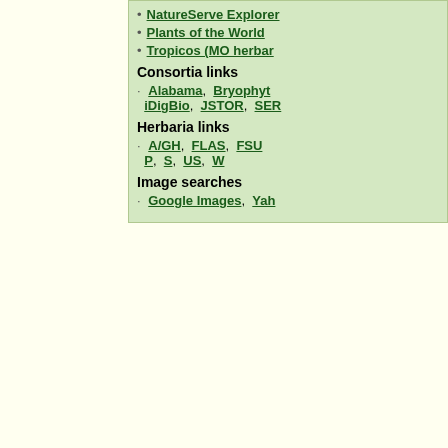NatureServe Explorer
Plants of the World
Tropicos (MO herbar…
Consortia links
Alabama, Bryophyt… iDigBio, JSTOR, SER…
Herbaria links
A/GH, FLAS, FSU… P, S, US, W
Image searches
Google Images, Yah…
Source
| County | Herbaria | Literature Citation (If Applicable) |
| --- | --- | --- |
| Miami-Dade | USF |  |
Synonyms
– Denotes synonyms that are applicable to the state. Show these synonyms only
| Synonym | Full Citation | Basionym | Type |
| --- | --- | --- | --- |
| Aniseia martinicensis | Aniseia martinicensis (Jacquin) Choisy, var. nitens | BASIONYM: Aniseia nitens Choisy 1838. |  |